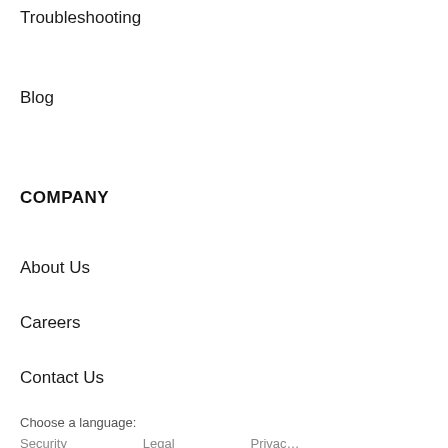Troubleshooting
Blog
COMPANY
About Us
Careers
Contact Us
Choose a language:
Security    Legal    Privac…